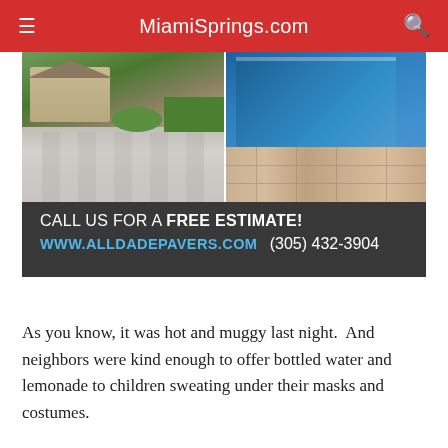MiamiSprings.com
[Figure (photo): Advertisement image showing two photos: left side shows a paved brick driveway leading to a house with palm trees and green lawn; right side shows a blue swimming pool with travertine stone pavers. Below the photos is a dark banner reading: CALL US FOR A FREE ESTIMATE! WWW.ALLDADEPAVERS.COM (305) 432-3904]
As you know, it was hot and muggy last night.  And neighbors were kind enough to offer bottled water and lemonade to children sweating under their masks and costumes.